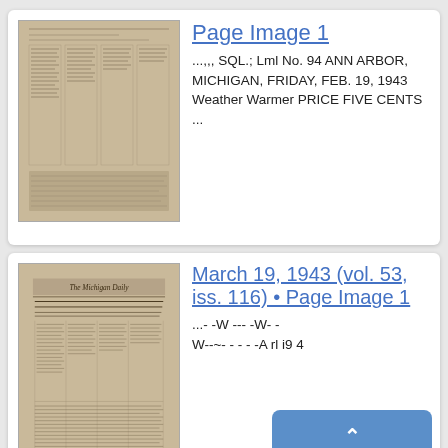[Figure (photo): Thumbnail of a historical newspaper page, sepia/tan toned, first card]
Page Image 1
...,,, SQL.; Lml No. 94 ANN ARBOR, MICHIGAN, FRIDAY, FEB. 19, 1943 Weather Warmer PRICE FIVE CENTS ...
[Figure (photo): Thumbnail of The Michigan Daily newspaper front page March 19 1943, with headlines about Japs and Tank Troops]
March 19, 1943 (vol. 53, iss. 116) • Page Image 1
...- -W --- -W- -- W--~- - - - -A rl i9 4
Back to Top